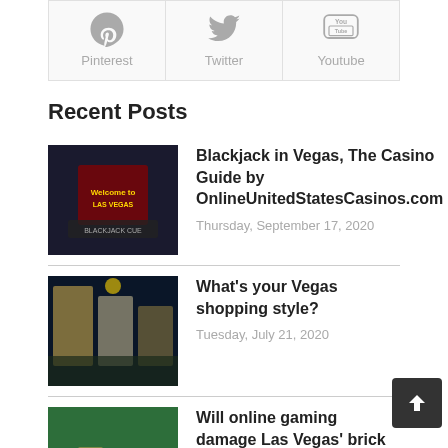[Figure (infographic): Social media icons row: Pinterest (pin icon), Twitter (bird icon), Youtube (play icon) — each in a bordered box with icon and label below]
Recent Posts
[Figure (photo): Las Vegas sign at night — thumbnail for Blackjack in Vegas post]
Blackjack in Vegas, The Casino Guide by OnlineUnitedStatesCasinos.com
Thursday, September 17, 2020
[Figure (photo): Las Vegas strip hotel at night — thumbnail for Vegas shopping style post]
What's your Vegas shopping style?
Tuesday, July 21, 2020
[Figure (photo): Hands at casino table with chips — thumbnail for online gaming post]
Will online gaming damage Las Vegas' brick and mortar industry?
Thursday, April 2, 2020